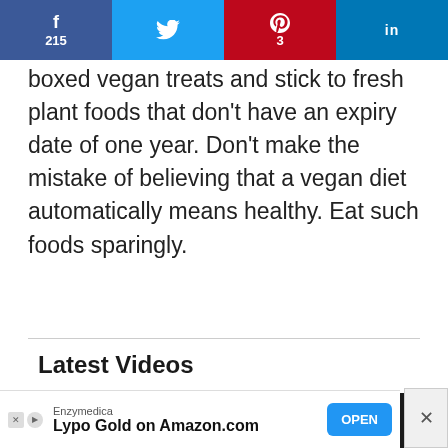f 215 | (twitter bird) | p 3 | in
boxed vegan treats and stick to fresh plant foods that don't have an expiry date of one year. Don't make the mistake of believing that a vegan diet automatically means healthy. Eat such foods sparingly.
Latest Videos
[Figure (screenshot): Video player showing error message: 'The video cannot be played in this browser.']
[Figure (other): Advertisement banner: Enzymedica - Lypo Gold on Amazon.com - OPEN button]